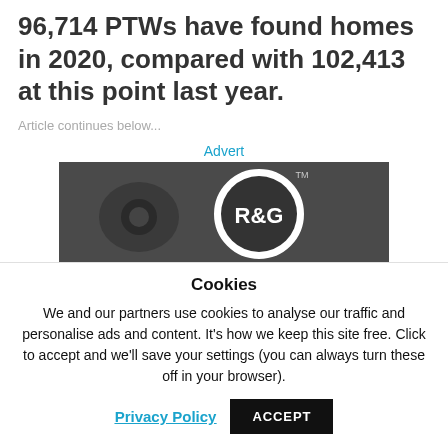96,714 PTWs have found homes in 2020, compared with 102,413 at this point last year.
Article continues below...
Advert
[Figure (photo): Black and white advertisement image showing R&G logo/badge on motorcycle gear]
Cookies
We and our partners use cookies to analyse our traffic and personalise ads and content. It's how we keep this site free. Click to accept and we'll save your settings (you can always turn these off in your browser).
Privacy Policy  ACCEPT